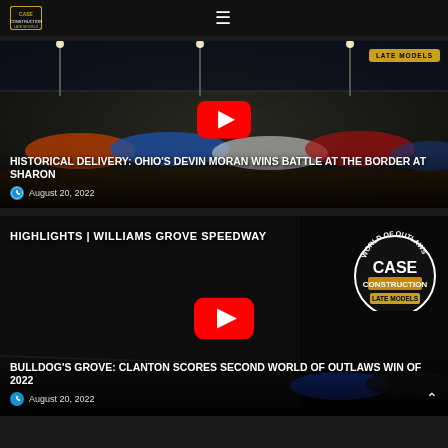Case Construction Late Models — navigation header
[Figure (screenshot): Video thumbnail showing late model dirt cars racing at Sharon Speedway at night, with a YouTube play button overlay and 'LATE MODELS' badge in top right]
HISTORICAL DELIVERY: Ohio's Devin Moran wins Battle at the Border at Sharon
August 20, 2022
[Figure (screenshot): Video thumbnail for Williams Grove Speedway highlights showing late model dirt cars with World of Outlaws CASE Construction Late Models logo badge and YouTube play button]
BULLDOG'S GROVE: Clanton Scores Second World of Outlaws Win of 2022
August 20, 2022